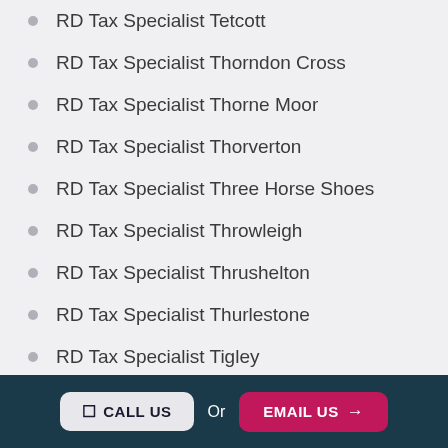RD Tax Specialist Tetcott
RD Tax Specialist Thorndon Cross
RD Tax Specialist Thorne Moor
RD Tax Specialist Thorverton
RD Tax Specialist Three Horse Shoes
RD Tax Specialist Throwleigh
RD Tax Specialist Thrushelton
RD Tax Specialist Thurlestone
RD Tax Specialist Tigley
RD Tax Specialist Tinhay
CALL US  Or  EMAIL US →